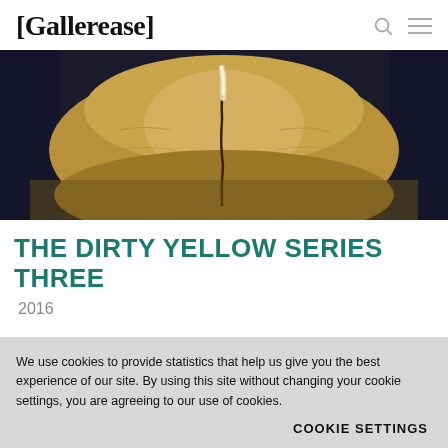[Gallerease]
[Figure (photo): Close-up photograph of an animal hide or skin, showing yellow-brown fur with a dark vertical crack or line running down the center, set against a dark background.]
THE DIRTY YELLOW SERIES THREE
2016
We use cookies to provide statistics that help us give you the best experience of our site. By using this site without changing your cookie settings, you are agreeing to our use of cookies.
COOKIE SETTINGS